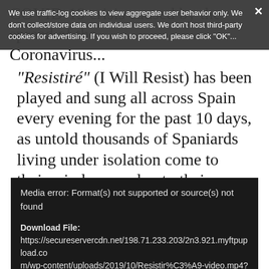COVID-19 crisis caused by the spread of the Coronavirus...
We use traffic-log cookies to view aggregate user behavior only. We don't collect/store data on individual users. We don't host third-party cookies for advertising. If you wish to proceed, please click "OK"...
"Resistiré" (I Will Resist) has been played and sung all across Spain every evening for the past 10 days, as untold thousands of Spaniards living under isolation come to their windows and onto their balconies to applaud the courage of Spain's healthcare workers, who put their lives on the line daily in the effort to contain the spread of the virus.
[Figure (screenshot): Media error box with dark background showing: 'Media error: Format(s) not supported or source(s) not found' and 'Download File: https://secureservercdn.net/198.71.233.203/2n3.921.myftpupload.com/wp-content/uploads/2019/10/Resistir%C3%A9-video.mp4?_=1']